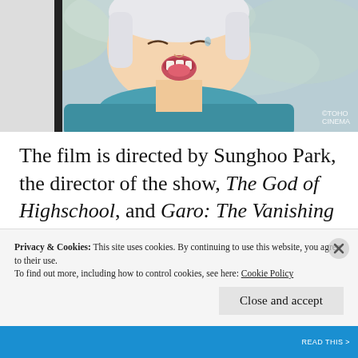[Figure (illustration): Anime character screenshot from Jujutsu Kaisen, showing a character with blue/teal scarf and white hair, mouth open, appearing to be shouting or in distress. Background is blurred outdoors.]
The film is directed by Sunghoo Park, the director of the show, The God of Highschool, and Garo: The Vanishing Line. It's written by Hiroshi Seko, and based on the manga by Gege Akutami. Our story follows Yuta Okkotsu, dubbed by Kayleigh McKee. He's a high schooler who happens to have something looming over his shoulders in the form of a
Privacy & Cookies: This site uses cookies. By continuing to use this website, you agree to their use.
To find out more, including how to control cookies, see here: Cookie Policy
Close and accept